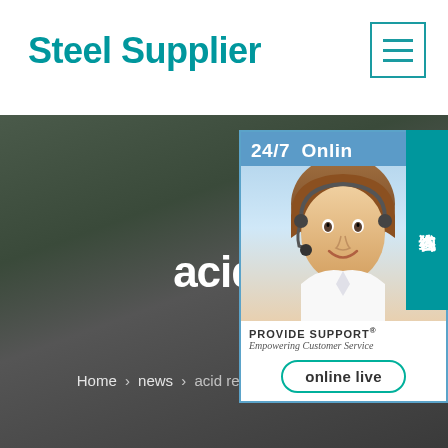Steel Supplier
[Figure (screenshot): Hamburger menu icon in top right corner, teal outlined box with three horizontal lines]
[Figure (photo): Dark hero background image with blurred green/dark foliage]
[Figure (photo): Live chat widget showing: 24/7 Online header in blue, photo of smiling woman with headset, PROVIDE SUPPORT Empowering Customer Service, online live button. Chinese characters 在线咨询 on right edge.]
acid resistance of line pipe
Home > news > acid resistance of line pipe